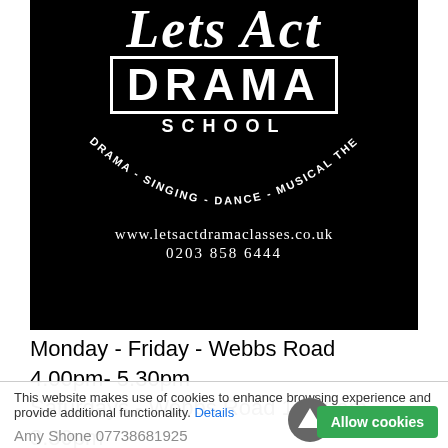[Figure (logo): Let's Act Drama School logo on black background with circular text reading Drama - Singing - Dance - Musical Theatre, website www.letsactdramaclasses.co.uk and phone 0203 858 6444]
Monday - Friday - Webbs Road 4.00pm- 5.30pm
Saturdays  - Webbs Road 10.00am - 3.30pm
Fridays - Meteor Street 4.00pm- 5.30pm
This website makes use of cookies to enhance browsing experience and provide additional functionality. Details
Amy Shone 07738681925